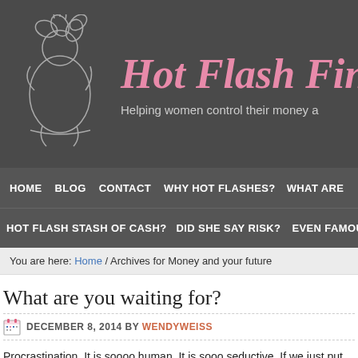Hot Flash Finan... — Helping women control their money a...
HOME | BLOG | CONTACT | WHY HOT FLASHES? | WHAT ARE...
HOT FLASH STASH OF CASH? | DID SHE SAY RISK? | EVEN FAMOUS...
You are here: Home / Archives for Money and your future
What are you waiting for?
DECEMBER 8, 2014 BY WENDYWEISS
Procrastination. It is soooo human. It is sooo seductive. If we just put something off, like we don't have to stress about it. But, if we delay, dawdle, postpone, ignore, we a... deceive ourselves.
Why? Procrastination is magic. It is based on illusion.